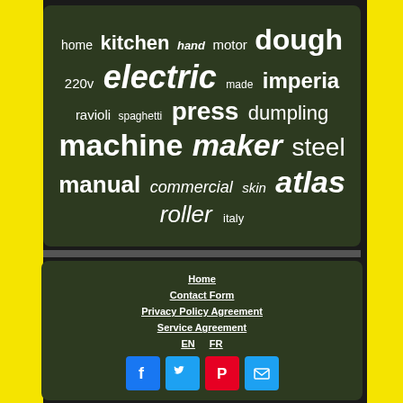[Figure (infographic): Word cloud on dark olive/green background with pasta-related keywords in various sizes: home, kitchen, hand, motor, dough, 220v, electric, made, imperia, ravioli, spaghetti, press, dumpling, machine, maker, steel, manual, commercial, skin, atlas, roller, italy]
Home
Contact Form
Privacy Policy Agreement
Service Agreement
EN  FR
[Figure (infographic): Row of four social media icon buttons: Facebook (blue), Twitter (light blue), Pinterest (red), Email/envelope (light blue)]